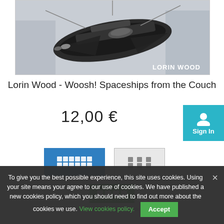[Figure (illustration): Book cover showing a sci-fi spaceship illustration in dark tones with text 'LORIN WOOD' in bottom right corner]
Lorin Wood - Woosh! Spaceships from the Couch
12,00 €
[Figure (screenshot): Sign In button (teal/cyan) with user icon]
[Figure (screenshot): Two view toggle buttons - blue grid view button and gray list view button]
[Figure (screenshot): Green add to cart button]
To give you the best possible experience, this site uses cookies. Using your site means your agree to our use of cookies. We have published a new cookies policy, which you should need to find out more about the cookies we use. View cookies policy.  Accept